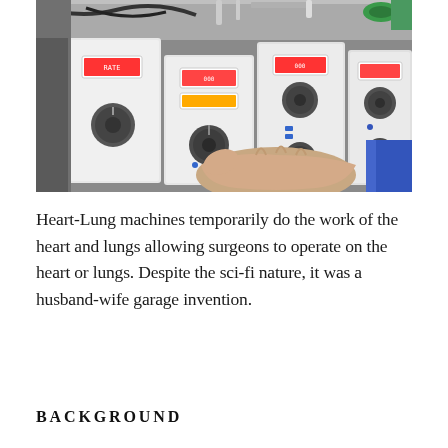[Figure (photo): Close-up photograph of Heart-Lung machine control panels with multiple rotary knobs and digital displays, with a gloved hand adjusting one of the controls. The machine has a metallic silver/grey finish with white control panels.]
Heart-Lung machines temporarily do the work of the heart and lungs allowing surgeons to operate on the heart or lungs. Despite the sci-fi nature, it was a husband-wife garage invention.
BACKGROUND